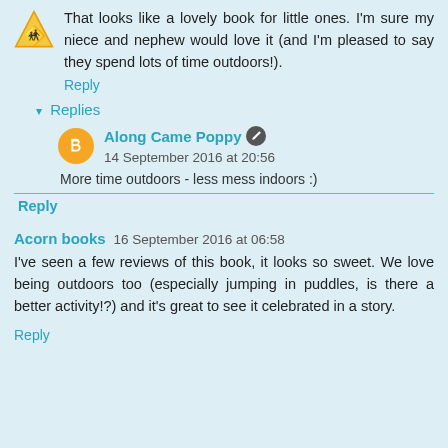That looks like a lovely book for little ones. I'm sure my niece and nephew would love it (and I'm pleased to say they spend lots of time outdoors!).
Reply
▾ Replies
Along Came Poppy  14 September 2016 at 20:56
More time outdoors - less mess indoors :)
Reply
Acorn books  16 September 2016 at 06:58
I've seen a few reviews of this book, it looks so sweet. We love being outdoors too (especially jumping in puddles, is there a better activity!?) and it's great to see it celebrated in a story.
Reply